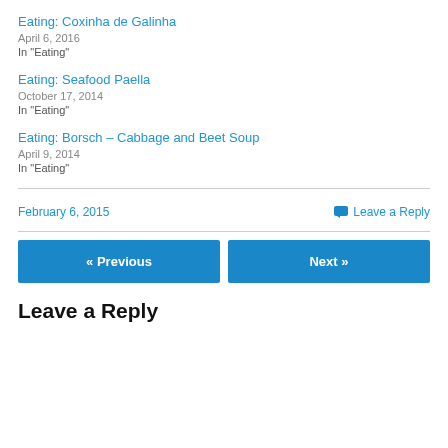Eating: Coxinha de Galinha
April 6, 2016
In "Eating"
Eating: Seafood Paella
October 17, 2014
In "Eating"
Eating: Borsch – Cabbage and Beet Soup
April 9, 2014
In "Eating"
February 6, 2015
Leave a Reply
« Previous
Next »
Leave a Reply